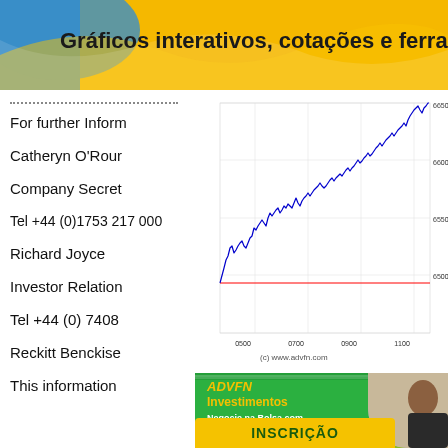[Figure (other): Top banner with text 'Gráficos interativos, cotações e ferram...' on a blue and golden/yellow gradient background]
For further Inform
Catheryn O'Rour
Company Secret
Tel +44 (0)1753 217 000
Richard Joyce
Investor Relation
Tel +44 (0) 7408
Reckitt Benckise
This information
[Figure (continuous-plot): Intraday stock price chart showing price movement from ~6500 to ~6660, with time axis labels 0500, 0700, 0900, 1100. Red horizontal line at 6500. Source: (c) www.advfn.com]
[Figure (other): ADVFN Investimentos advertisement on green background. Text: 'Negocie na Bolsa com SEGURANÇA e PRECISÃO, gerando os melhores rendimentos.' with INSCRIÇÃO button]